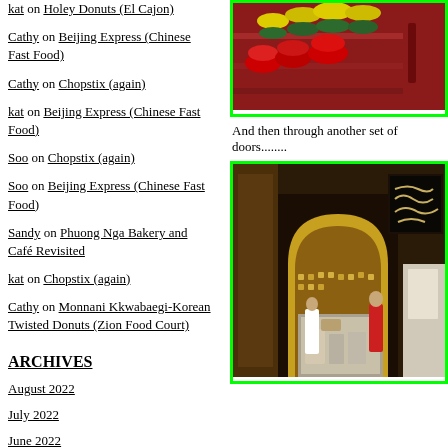kat on Holey Donuts (El Cajon)
Cathy on Beijing Express (Chinese Fast Food)
Cathy on Chopstix (again)
kat on Beijing Express (Chinese Fast Food)
Soo on Chopstix (again)
Soo on Beijing Express (Chinese Fast Food)
Sandy on Phuong Nga Bakery and Café Revisited
kat on Chopstix (again)
Cathy on Monnani Kkwabaegi-Korean Twisted Donuts (Zion Food Court)
ARCHIVES
August 2022
July 2022
June 2022
May 2022
April 2022
[Figure (photo): Photo of red and yellow flowers in pots on red steps, viewed from outside through glass]
And then through another set of doors........
[Figure (photo): Interior photo of an ornate Middle Eastern restaurant with golden mosaic arch, Arabic calligraphy signage, and staff working behind counter]